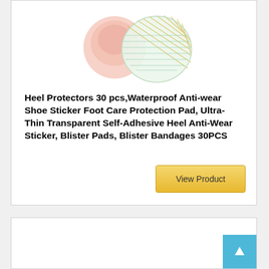[Figure (photo): Product photo of heel protector pads - showing pink/transparent round pads and a decorative circular pad with gold/green lattice pattern]
Heel Protectors 30 pcs,Waterproof Anti-wear Shoe Sticker Foot Care Protection Pad, Ultra-Thin Transparent Self-Adhesive Heel Anti-Wear Sticker, Blister Pads, Blister Bandages 30PCS
View Product